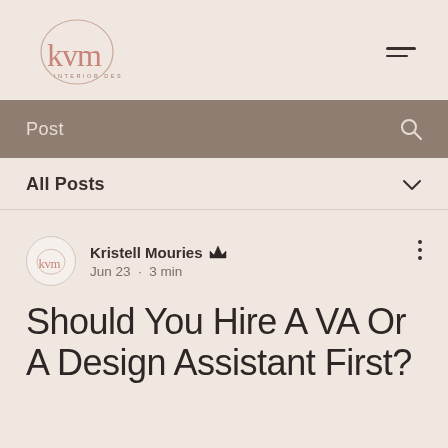[Figure (logo): KVM design logo — circular outline with stylized 'kvm' text in dusty rose/pink color]
Post
All Posts
Kristell Mouries  Jun 23 · 3 min
Should You Hire A VA Or A Design Assistant First?